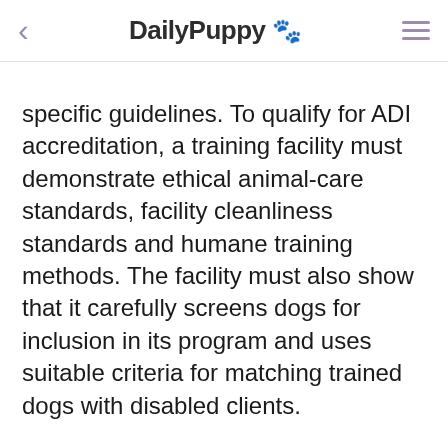DailыPuppy 🐾
specific guidelines. To qualify for ADI accreditation, a training facility must demonstrate ethical animal-care standards, facility cleanliness standards and humane training methods. The facility must also show that it carefully screens dogs for inclusion in its program and uses suitable criteria for matching trained dogs with disabled clients.
Minimum Training Guidelines